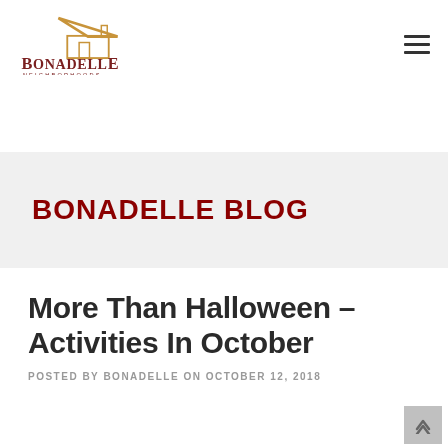[Figure (logo): Bonadelle Neighborhoods logo with house icon and tagline 'Building Value For Generations']
BONADELLE BLOG
More Than Halloween – Activities In October
POSTED BY BONADELLE ON OCTOBER 12, 2018